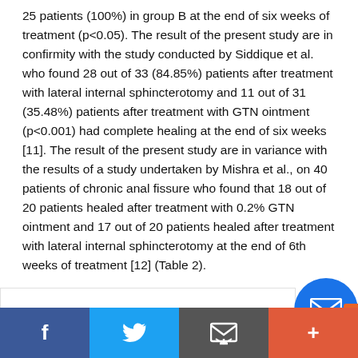25 patients (100%) in group B at the end of six weeks of treatment (p<0.05). The result of the present study are in confirmity with the study conducted by Siddique et al. who found 28 out of 33 (84.85%) patients after treatment with lateral internal sphincterotomy and 11 out of 31 (35.48%) patients after treatment with GTN ointment (p<0.001) had complete healing at the end of six weeks [11]. The result of the present study are in variance with the results of a study undertaken by Mishra et al., on 40 patients of chronic anal fissure who found that 18 out of 20 patients healed after treatment with 0.2% GTN ointment and 17 out of 20 patients healed after treatment with lateral internal sphincterotomy at the end of 6th weeks of treatment [12] (Table 2).
[Figure (other): Social media share bar with Facebook, Twitter, email, and plus icons]